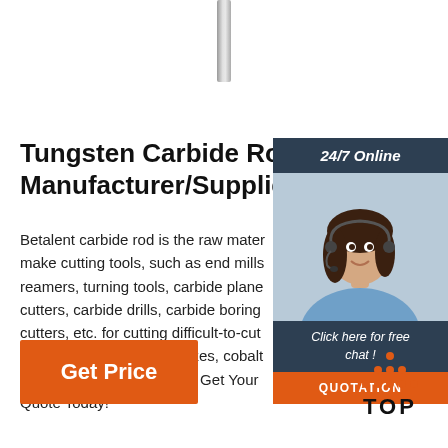[Figure (illustration): Vertical metallic rod/bar at top center of the page]
Tungsten Carbide Rod Blank Manufacturer/Supplier
Betalent carbide rod is the raw material to make cutting tools, such as end mills, reamers, turning tools, carbide plane cutters, carbide drills, carbide boring cutters, etc. for cutting difficult-to-cut materials. Various grain sizes, cobalt content, hardness options. Get Your Free Quote Today!
[Figure (photo): Customer service representative photo with headset, smiling woman]
24/7 Online
Click here for free chat !
QUOTATION
Get Price
[Figure (illustration): TOP button with orange dots above forming an arrow/triangle shape]